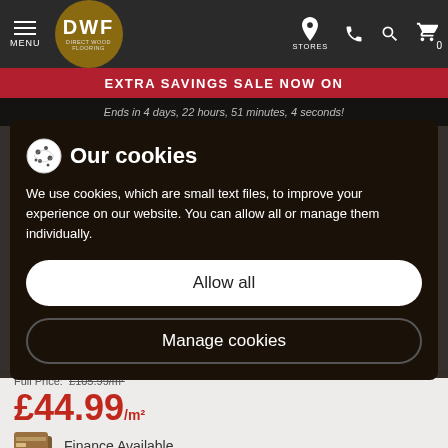[Figure (screenshot): DWF Direct Wood Flooring navigation bar with hamburger menu, logo, stores, phone, search, and cart icons]
EXTRA SAVINGS SALE NOW ON
Ends in 4 days, 22 hours, 51 minutes, 4 seconds!
Our cookies
We use cookies, which are small text files, to improve your experience on our website. You can allow all or manage them individually.
Allow all
Manage cookies
Legacy Chevron Natural Oak...
Full Price: £105.99/m²
£44.99/m²
Finance Available